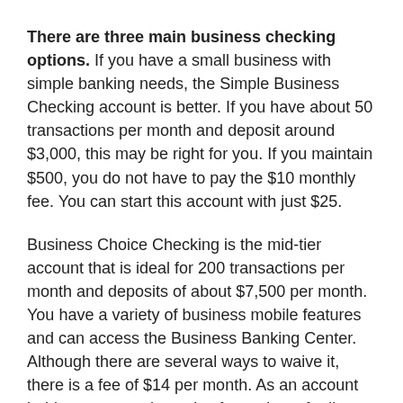There are three main business checking options. If you have a small business with simple banking needs, the Simple Business Checking account is better. If you have about 50 transactions per month and deposit around $3,000, this may be right for you. If you maintain $500, you do not have to pay the $10 monthly fee. You can start this account with just $25.
Business Choice Checking is the mid-tier account that is ideal for 200 transactions per month and deposits of about $7,500 per month. You have a variety of business mobile features and can access the Business Banking Center. Although there are several ways to waive it, there is a fee of $14 per month. As an account holder, you can also enjoy fee waivers for lines of credit and other credit products from Wells Fargo.
Platinum Business Checking is better for growing businesses and larger businesses. If you have double or triple the deposit